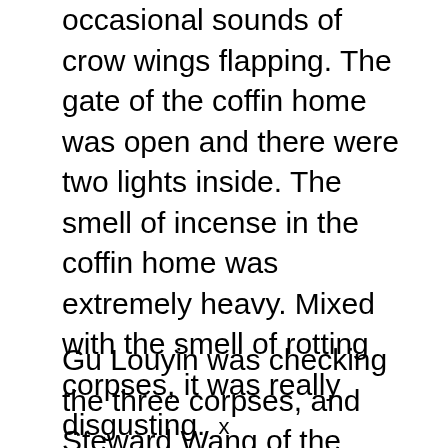occasional sounds of crow wings flapping. The gate of the coffin home was open and there were two lights inside. The smell of incense in the coffin home was extremely heavy. Mixed with the smell of rotting corpses, it was really disgusting.
Gu Louyin was checking the three corpses, and Steward Wang of the governor’s mansion stood aside with his nose and mouth covered. Gu Louyin caught the slight sound of footsteps and clenched the hilt of his sword.
x